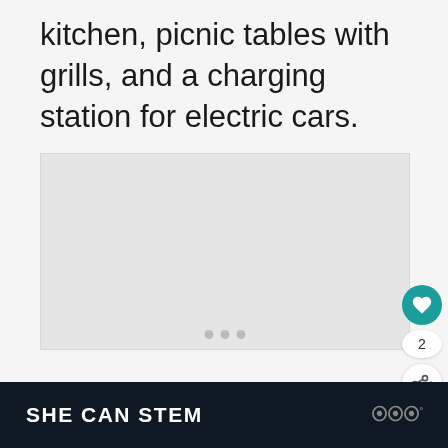kitchen, picnic tables with grills, and a charging station for electric cars.
[Figure (photo): Image placeholder area with dot navigation indicators]
[Figure (screenshot): Like button (heart icon, teal circle), count of 2, share button (white circle with share icon), and What's Next panel showing thumbnail and text 'Family Friendly...']
SHE CAN STEM